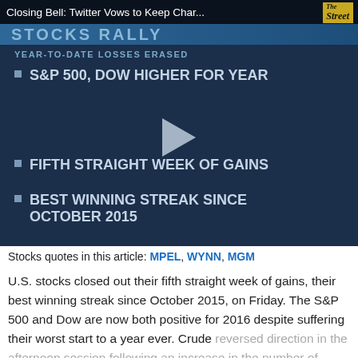[Figure (screenshot): Video thumbnail showing a dark blue financial news graphic with 'STOCKS RALLY' header bar, 'YEAR-TO-DATE LOSSES ERASED' subheader, bullet points reading 'S&P 500, DOW HIGHER FOR YEAR', 'FIFTH STRAIGHT WEEK OF GAINS', 'BEST WINNING STREAK SINCE OCTOBER 2015', and a play button in the center. TheStreet logo in top right corner. Title overlay reads 'Closing Bell: Twitter Vows to Keep Char...']
Stocks quotes in this article: MPEL, WYNN, MGM
U.S. stocks closed out their fifth straight week of gains, their best winning streak since October 2015, on Friday. The S&P 500 and Dow are now both positive for 2016 despite suffering their worst start to a year ever. Crude reversed direction in the afternoon session following an increase in the number of active oil rigs in the U.S. The weekly read increased for the first time this year. Crude